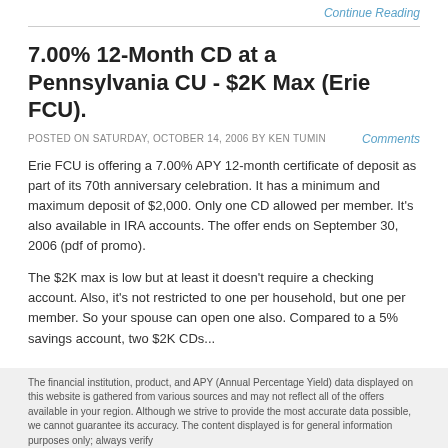Continue Reading
7.00% 12-Month CD at a Pennsylvania CU - $2K Max (Erie FCU).
POSTED ON SATURDAY, OCTOBER 14, 2006 BY KEN TUMIN
Comments
Erie FCU is offering a 7.00% APY 12-month certificate of deposit as part of its 70th anniversary celebration. It has a minimum and maximum deposit of $2,000. Only one CD allowed per member. It's also available in IRA accounts. The offer ends on September 30, 2006 (pdf of promo).
The $2K max is low but at least it doesn't require a checking account. Also, it's not restricted to one per household, but one per member. So your spouse can open one also. Compared to a 5% savings account, two $2K CDs...
Continue Reading
The financial institution, product, and APY (Annual Percentage Yield) data displayed on this website is gathered from various sources and may not reflect all of the offers available in your region. Although we strive to provide the most accurate data possible, we cannot guarantee its accuracy. The content displayed is for general information purposes only; always verify